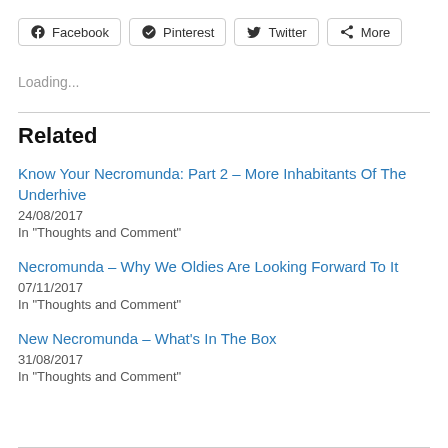[Figure (infographic): Row of social share buttons: Facebook, Pinterest, Twitter, More]
Loading...
Related
Know Your Necromunda: Part 2 – More Inhabitants Of The Underhive
24/08/2017
In "Thoughts and Comment"
Necromunda – Why We Oldies Are Looking Forward To It
07/11/2017
In "Thoughts and Comment"
New Necromunda – What's In The Box
31/08/2017
In "Thoughts and Comment"